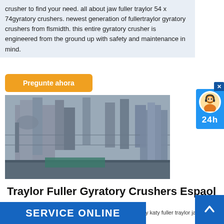crusher to find your need. all about jaw fuller traylor 54 x 74gyratory crushers. newest generation of fullertraylor gyratory crushers from flsmidth. this entire gyratory crusher is engineered from the ground up with safety and maintenance in mind.
[Figure (other): Yellow button with text 'Pregunte ahora']
[Figure (photo): Industrial plant with large steel structures, scaffolding, and heavy machinery — gyratory crusher installation site]
Traylor Fuller Gyratory Crushers Espaol
feb 23, 2019traylor fuller gyratory crushers espaol nails by katy fuller traylor jaw ... raylor 60 x 110 description fl ... crusher to find your need. all about jaw fuller traylor 54 x 74 ...
[Figure (other): Blue sidebar ad with cartoon avatar and '24h' text]
[Figure (other): Blue 'SERVICE ONLINE' banner at bottom]
[Figure (other): Blue scroll-up arrow button at bottom right]